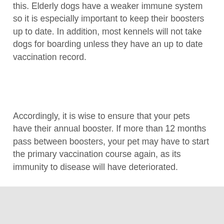this. Elderly dogs have a weaker immune system so it is especially important to keep their boosters up to date. In addition, most kennels will not take dogs for boarding unless they have an up to date vaccination record.
Accordingly, it is wise to ensure that your pets have their annual booster. If more than 12 months pass between boosters, your pet may have to start the primary vaccination course again, as its immunity to disease will have deteriorated.
[Figure (other): Green banner with an orange Register button with a right-pointing arrow on the right side]